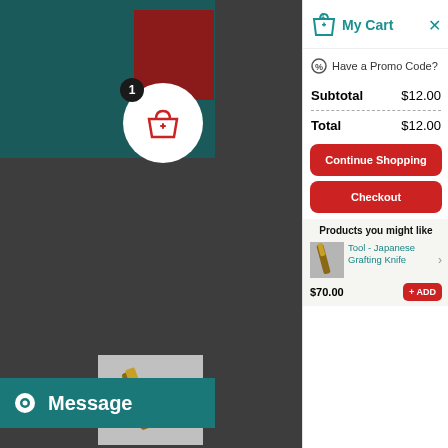[Figure (screenshot): Left side of screen showing teal/dark background with shopping basket icon and badge showing 1 item, with product image and Message button at bottom]
My Cart
Have a Promo Code?
| Subtotal | $12.00 |
| Total | $12.00 |
Continue Shopping
Checkout
Products you might like
Tool - Japanese Grafting Knife
$70.00
+ ADD